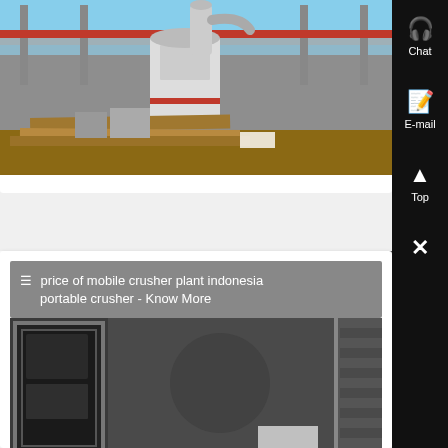[Figure (photo): Industrial crushing plant machinery with large white dust collector/cyclone unit, red-painted horizontal beam across roofline, and stacked lumber in foreground. Outdoor industrial facility.]
≡ price of mobile crusher plant indonesia portable crusher - Know More
[Figure (photo): Close-up of industrial crusher machine interior showing heavy mechanical components, door/hatch, and metal pipe/column.]